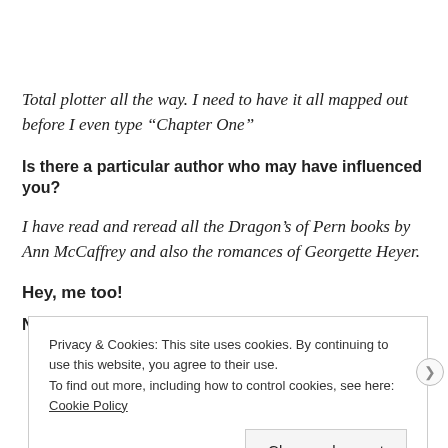Total plotter all the way. I need to have it all mapped out before I even type “Chapter One”
Is there a particular author who may have influenced you?
I have read and reread all the Dragon’s of Pern books by Ann McCaffrey and also the romances of Georgette Heyer.
Hey, me too!
Privacy & Cookies: This site uses cookies. By continuing to use this website, you agree to their use.
To find out more, including how to control cookies, see here: Cookie Policy
Close and accept